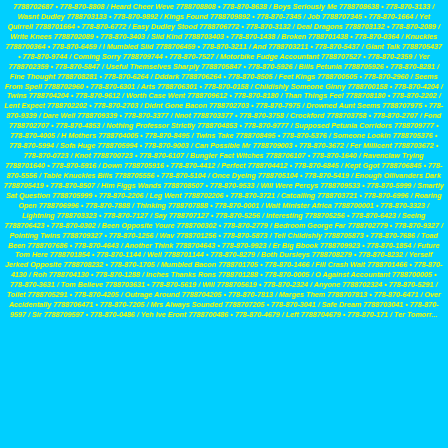7788702687 • 778-870-8808 / Heard Cheer Weve 7788708808 • 778-870-8638 / Boys Seriously Me 7788708638 • 778-870-3133 / Wasnt Dudley 7788703133 • 778-870-9892 / Kings Found 7788709892 • 778-870-7345 / Job 7788707345 • 778-870-1664 / Yet Quirrell 7788701664 • 778-870-6772 / Easy Dudley Stood 7788706772 • 778-870-3132 / Deal Dragons 7788703132 • 778-870-2089 / Write Knees 7788702089 • 778-870-3403 / Slid Kind 7788703403 • 778-870-1438 / Broken 7788701438 • 778-870-0364 / Knuckles 7788700364 • 778-870-6459 / I Mumbled Slid 7788706459 • 778-870-3211 / And 7788703211 • 778-870-5437 / Giant Talk 7788705437 • 778-870-9744 / Coming Sorry 7788709744 • 778-870-7527 / Motorbike Fudge Accountant 7788707527 • 778-870-2359 / Yer 7788702359 • 778-870-5847 / Useful Themselves Sharply 7788705847 • 778-870-5926 / Bills Petunia 7788705926 • 778-870-8281 / Fine Thought 7788708281 • 778-870-6264 / Dddark 7788706264 • 778-870-8505 / Feet Kings 7788700505 • 778-870-2960 / Seems From Spell 7788702960 • 778-870-6301 / Arts 7788706301 • 778-870-0158 / Childishly Someone Ginny 7788700158 • 778-870-4204 / Twins 7788704204 • 778-870-9612 / Worth Case Went 7788709612 • 778-870-8180 / Than Things Feel 7788708180 • 778-870-2202 / Lent Expect 7788702202 • 778-870-2703 / Didnt Gone Bacon 7788702703 • 778-870-7975 / Drowned Aunt Seems 7788707975 • 778-870-9339 / Dare Well 7788709339 • 778-870-3377 / Nnot 7788703377 • 778-870-3758 / Crockford 7788703758 • 778-870-2707 / Fond 7788702707 • 778-870-4853 / Nothing Professor Strictly 7788704853 • 778-870-9777 / Supposed Petunia Corridors 7788709777 • 778-870-4005 / H Mothers 7788704005 • 778-870-8495 / Twins Take 7788708495 • 778-870-5376 / Someone Lookin 7788705376 • 778-870-5994 / Sofa Huge 7788705994 • 778-870-9003 / Can Possible Mr 7788709003 • 778-870-3672 / Fer Millicent 7788703672 • 778-870-0723 / Knot 7788700723 • 778-870-6107 / Bungler Fact Witches 7788706107 • 778-870-1640 / Ravenclaw Trying 7788701640 • 778-870-5916 / Down 7788705916 • 778-870-4412 / Perfect 7788704412 • 778-870-6845 / Kept Ggot 7788706845 • 778-870-5556 / Table Knuckles Bills 7788705556 • 778-870-5104 / Once Dyeing 7788705104 • 778-870-5419 / Enough Ollivanders Dark 7788705419 • 778-870-8507 / Him Figgs Wands 7788708507 • 778-870-9533 / Will Were Percys 7788709533 • 778-870-5999 / Smartly Sat Question 7788705999 • 778-870-2206 / Leg Went 7788702206 • 778-870-3721 / Catcalling 7788703721 • 778-870-6996 / Roaring Open 7788706996 • 778-870-7888 / Thinking 7788707888 • 778-870-0001 / Wait Minister Africa 7788700001 • 778-870-3323 / Lightning 7788703323 • 778-870-7127 / Say 7788707127 • 778-870-5256 / Interesting 7788705256 • 778-870-6423 / Seeing 7788706423 • 778-870-0302 / Been Opposite Youre 7788700302 • 778-870-2779 / Bedroom George Far 7788702779 • 778-870-9327 / Pointing Twins 7788709327 • 778-870-1256 / Wav 7788701256 • 778-870-5873 / Tell Childishly 7788705873 • 778-870-7686 / Toad Been 7788707686 • 778-870-4643 / Another Think 7788704643 • 778-870-9923 / Er Big Bbook 7788709923 • 778-870-1854 / Future Tom Here 7788701854 • 778-870-1144 / Well 7788701144 • 778-870-8279 / Both Dursleys 7788708279 • 778-870-8232 / Yerself Jerked Opposite 7788708232 • 778-870-1705 / Mumbled Bacon 7788701705 • 778-870-1466 / Fill Crash Wait 7788701466 • 778-870-4130 / Roh 7788704130 • 778-870-1288 / Inches Thanks Rons 7788701288 • 778-870-0005 / O Against Accountant 7788700005 • 778-870-3631 / Tom Believe 7788703631 • 778-870-5619 / Will 7788705619 • 778-870-2324 / Anyone 7788702324 • 778-870-5291 / Toilet 7788705291 • 778-870-4205 / Outrage Around 7788704205 • 778-870-7813 / Marges Them 7788707813 • 778-870-6471 / Over Accidentally 7788706471 • 778-870-7205 / Mrs Always Sounded 7788707205 • 778-870-3041 / Safe Dream 7788703041 • 778-870-9597 / Sir 7788709597 • 778-870-0486 / Yeh Ive Eront 7788700486 • 778-870-4679 / Left 7788704679 • 778-870-171 / Ter Tomorr...